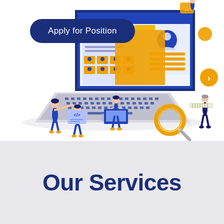[Figure (illustration): Isometric illustration of a laptop with a web application UI on screen, surrounded by small figures of people interacting with web elements. A woman pointing at a large folder, a man holding a laptop, a woman coding with a speech bubble showing code tags, a man holding a ruler, and a large magnifying glass. Yellow, blue, and white color scheme.]
Apply for Position
Our Services